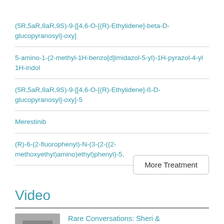(5R,5aR,8aR,9S)-9-[[4,6-O-[(R)-Ethylidene]-beta-D-glucopyranosyl]-oxy]
5-amino-1-(2-methyl-1H-benzo[d]imidazol-5-yl)-1H-pyrazol-4-yl 1H-indol
(5R,5aR,8aR,9S)-9-[[4,6-O-[(R)-Ethylidene]-ß-D-glucopyranosyl]-oxy]-5
Merestinib
(R)-6-(2-fluorophenyl)-N-(3-(2-((2-methoxyethyl)amino)ethyl)phenyl)-5,
More Treatment
Video
Rare Conversations: Sheri & Stephanie